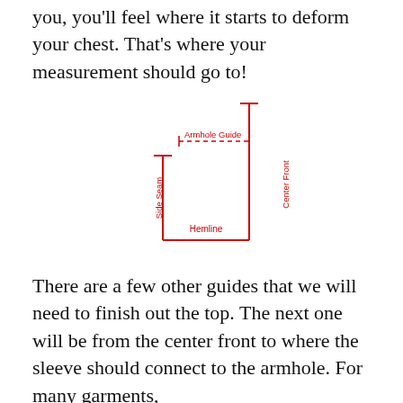you, you'll feel where it starts to deform your chest. That's where your measurement should go to!
[Figure (schematic): Garment measurement diagram showing Center Front (vertical line on right with top tick and dashed Armhole Guide line), Side Seam (vertical line on left with top tick), and Hemline (horizontal line at bottom connecting both vertical lines). Labels are in red.]
There are a few other guides that we will need to finish out the top. The next one will be from the center front to where the sleeve should connect to the armhole. For many garments,